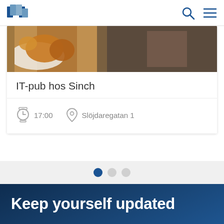[Figure (screenshot): Website header with book logo on the left and search/menu icons on the right]
[Figure (photo): Photo of fried food on a plate, partial view]
IT-pub hos Sinch
17:00   Slöjdaregatan 1
[Figure (other): Carousel pagination dots — one dark blue active dot and two light grey dots]
Keep yourself updated